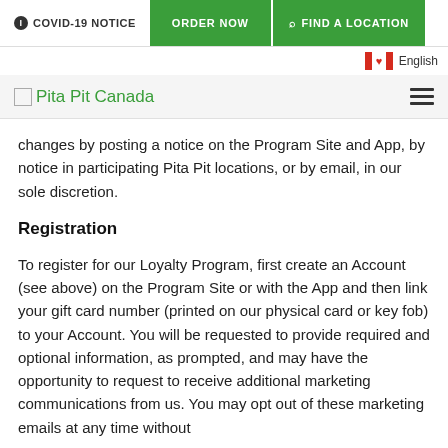COVID-19 NOTICE | ORDER NOW | FIND A LOCATION | English
[Figure (logo): Pita Pit Canada logo with hamburger menu icon]
changes by posting a notice on the Program Site and App, by notice in participating Pita Pit locations, or by email, in our sole discretion.
Registration
To register for our Loyalty Program, first create an Account (see above) on the Program Site or with the App and then link your gift card number (printed on our physical card or key fob) to your Account. You will be requested to provide required and optional information, as prompted, and may have the opportunity to request to receive additional marketing communications from us. You may opt out of these marketing emails at any time without